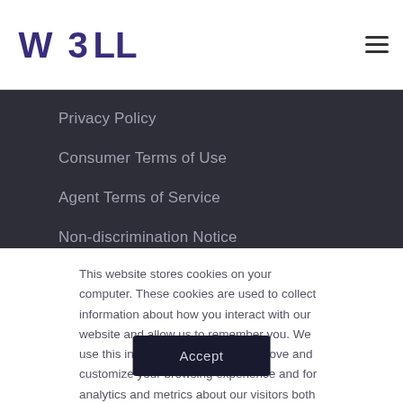[Figure (logo): W3LL logo in purple/dark blue lettering]
Privacy Policy
Consumer Terms of Use
Agent Terms of Service
Non-discrimination Notice
This website stores cookies on your computer. These cookies are used to collect information about how you interact with our website and allow us to remember you. We use this information in order to improve and customize your browsing experience and for analytics and metrics about our visitors both on this website and other media. To find out more about the cookies we use, see our Privacy Policy
Accept